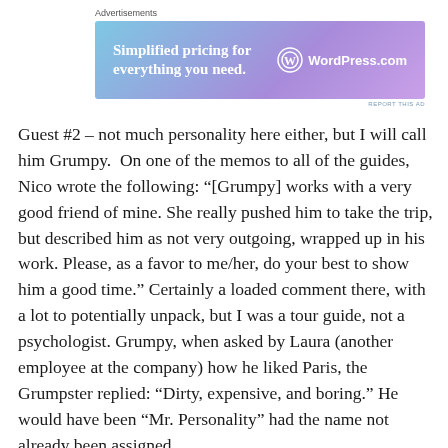[Figure (other): WordPress.com advertisement banner with text 'Simplified pricing for everything you need.' and WordPress.com logo on a blue-purple gradient background]
Guest #2 – not much personality here either, but I will call him Grumpy.  On one of the memos to all of the guides, Nico wrote the following: “[Grumpy] works with a very good friend of mine. She really pushed him to take the trip, but described him as not very outgoing, wrapped up in his work. Please, as a favor to me/her, do your best to show him a good time.” Certainly a loaded comment there, with a lot to potentially unpack, but I was a tour guide, not a psychologist. Grumpy, when asked by Laura (another employee at the company) how he liked Paris, the Grumpster replied: “Dirty, expensive, and boring.” He would have been “Mr. Personality” had the name not already been assigned.